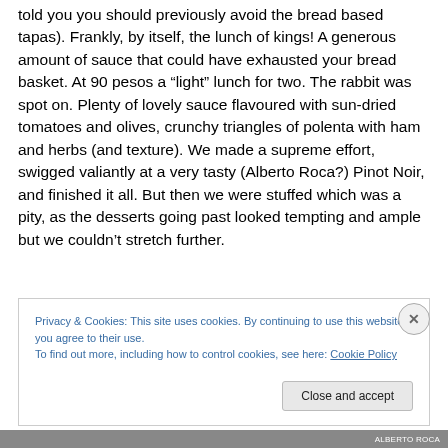told you you should previously avoid the bread based tapas). Frankly, by itself, the lunch of kings! A generous amount of sauce that could have exhausted your bread basket. At 90 pesos a “light” lunch for two. The rabbit was spot on. Plenty of lovely sauce flavoured with sun-dried tomatoes and olives, crunchy triangles of polenta with ham and herbs (and texture). We made a supreme effort, swigged valiantly at a very tasty (Alberto Roca?) Pinot Noir, and finished it all. But then we were stuffed which was a pity, as the desserts going past looked tempting and ample but we couldn’t stretch further.
Privacy & Cookies: This site uses cookies. By continuing to use this website, you agree to their use.
To find out more, including how to control cookies, see here: Cookie Policy